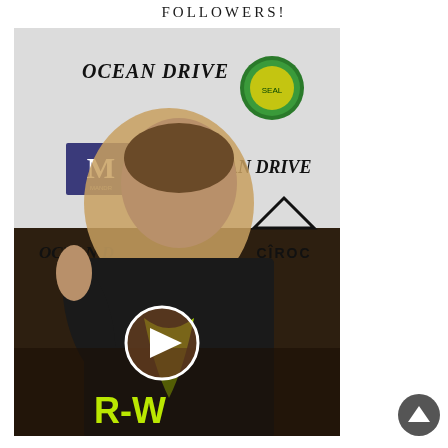FOLLOWERS!
[Figure (screenshot): Video still of a woman in a black blazer standing in front of an Ocean Drive / Ciroc event backdrop, with a circular play button overlay in the lower center of the image.]